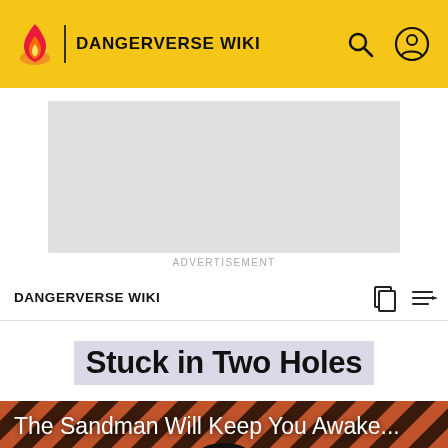DANGERVERSE WIKI
[Figure (screenshot): Advertisement placeholder - grey rectangle]
ADVERTISEMENT
DANGERVERSE WIKI
Stuck in Two Holes
[Figure (photo): Diagonal stripe pattern background in red/black/brown with text 'The Sandman Will Keep You Awake...' and a person figure below]